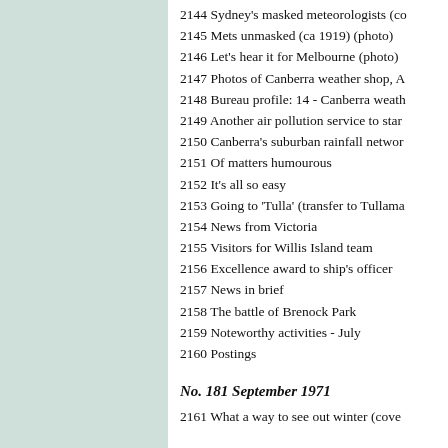2144 Sydney's masked meteorologists (co…
2145 Mets unmasked (ca 1919) (photo)
2146 Let's hear it for Melbourne (photo)
2147 Photos of Canberra weather shop, A…
2148 Bureau profile: 14 - Canberra weath…
2149 Another air pollution service to star…
2150 Canberra's suburban rainfall networ…
2151 Of matters humourous
2152 It's all so easy
2153 Going to 'Tulla' (transfer to Tullama…
2154 News from Victoria
2155 Visitors for Willis Island team
2156 Excellence award to ship's officer
2157 News in brief
2158 The battle of Brenock Park
2159 Noteworthy activities - July
2160 Postings
No. 181 September 1971
2161 What a way to see out winter (cove…